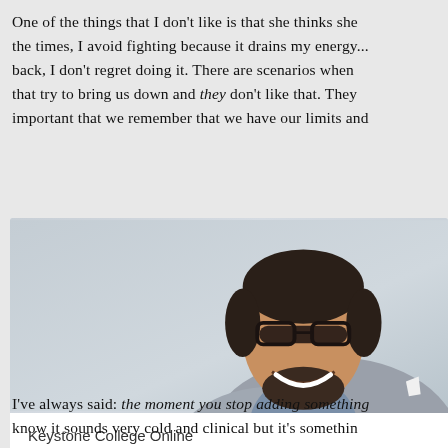One of the things that I don't like is that she thinks she the times, I avoid fighting because it drains my energy... back, I don't regret doing it. There are scenarios when that try to bring us down and they don't like that. They important that we remember that we have our limits and
[Figure (photo): Professional headshot of a smiling man with glasses, dark hair and beard, wearing a grey blazer over a blue checked shirt, against a light grey background. Card labeled 'Keystone College Online'.]
Keystone College Online
I've always said: the moment you stop adding something know it sounds very cold and clinical but it's somethin